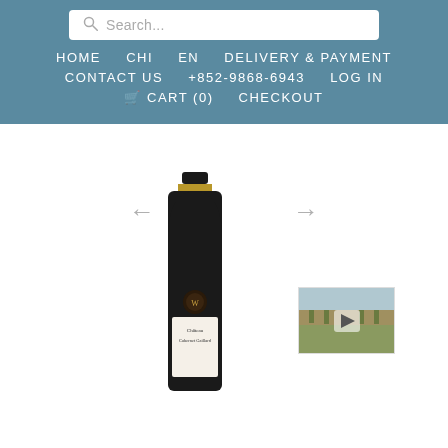Search... HOME CHI EN DELIVERY & PAYMENT CONTACT US +852-9868-6943 LOG IN CART (0) CHECKOUT
[Figure (photo): Wine bottle of Château Cabernet Gaillard with a label, placed on a white background. To the right is a small thumbnail image of a vineyard with a video play button.]